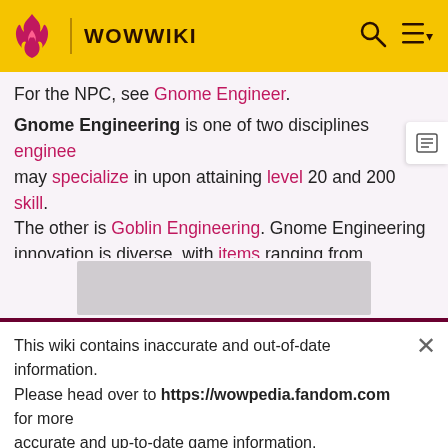WOWWIKI
For the NPC, see Gnome Engineer.

Gnome Engineering is one of two disciplines engineers may specialize in upon attaining level 20 and 200 skill. The other is Goblin Engineering. Gnome Engineering innovation is diverse, with items ranging from [Gnomish Harm Prevention Belt] and [Gnomish Mind Control Cap] to the [World Enlarger]. This diversity can give Gnome Engineers the element of surprise and situational advantages when facing enemies.
[Figure (other): Gray placeholder box for an image or advertisement]
This wiki contains inaccurate and out-of-date information. Please head over to https://wowpedia.fandom.com for more accurate and up-to-date game information.